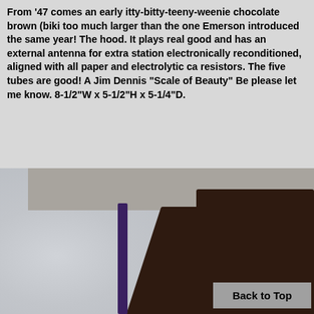From '47 comes an early itty-bitty-teeny-weenie chocolate brown (biki too much larger than the one Emerson introduced the same year! The hood. It plays real good and has an external antenna for extra station electronically reconditioned, aligned with all paper and electrolytic ca resistors. The five tubes are good! A Jim Dennis "Scale of Beauty" Be please let me know. 8-1/2"W x 5-1/2"H x 5-1/4"D.
[Figure (photo): Close-up photograph of a dark chocolate brown object (likely a vintage radio case) with a speckled light gray/white surface visible on the left side and a gray background at top. A purple/blue spine is visible on the left edge of the brown object.]
Back to Top